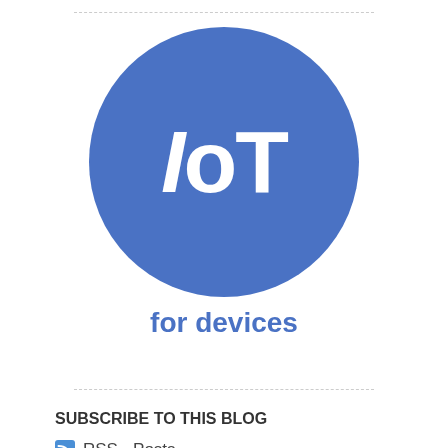[Figure (logo): IoT for devices logo: blue circle with white IoT text and 'for devices' text below]
SUBSCRIBE TO THIS BLOG
RSS - Posts